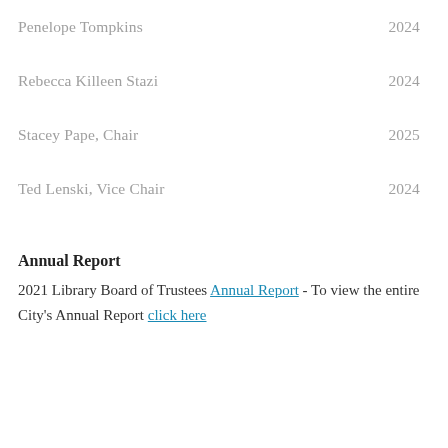Penelope Tompkins    2024
Rebecca Killeen Stazi    2024
Stacey Pape, Chair    2025
Ted Lenski, Vice Chair    2024
Annual Report
2021 Library Board of Trustees Annual Report - To view the entire City's Annual Report click here